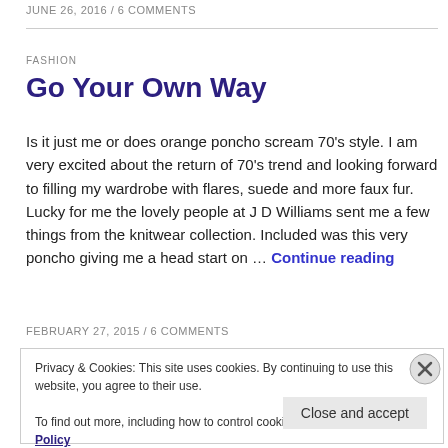JUNE 26, 2016 / 6 COMMENTS
FASHION
Go Your Own Way
Is it just me or does orange poncho scream 70's style. I am very excited about the return of 70's trend and looking forward to filling my wardrobe with flares, suede and more faux fur.  Lucky for me the lovely people at J D Williams sent me a few things from the knitwear collection. Included was this very poncho giving me a head start on … Continue reading
FEBRUARY 27, 2015 / 6 COMMENTS
Privacy & Cookies: This site uses cookies. By continuing to use this website, you agree to their use.
To find out more, including how to control cookies, see here: Cookie Policy